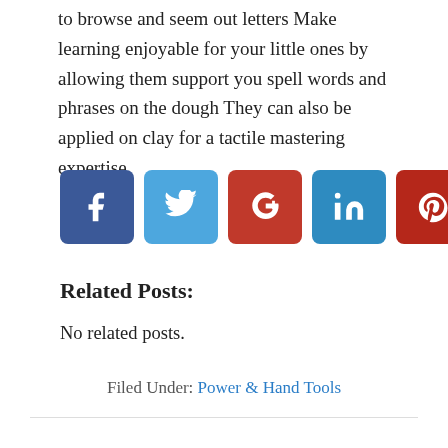to browse and seem out letters Make learning enjoyable for your little ones by allowing them support you spell words and phrases on the dough They can also be applied on clay for a tactile mastering expertise
[Figure (other): Row of five social media share buttons: Facebook (dark blue), Twitter (light blue), Google+ (red), LinkedIn (teal blue), Pinterest (dark red)]
Related Posts:
No related posts.
Filed Under: Power & Hand Tools